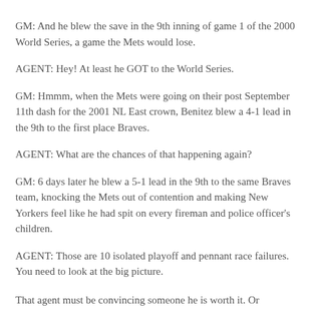GM: And he blew the save in the 9th inning of game 1 of the 2000 World Series, a game the Mets would lose.
AGENT: Hey! At least he GOT to the World Series.
GM: Hmmm, when the Mets were going on their post September 11th dash for the 2001 NL East crown, Benitez blew a 4-1 lead in the 9th to the first place Braves.
AGENT: What are the chances of that happening again?
GM: 6 days later he blew a 5-1 lead in the 9th to the same Braves team, knocking the Mets out of contention and making New Yorkers feel like he had spit on every fireman and police officer's children.
AGENT: Those are 10 isolated playoff and pennant race failures. You need to look at the big picture.
That agent must be convincing someone he is worth it. Or